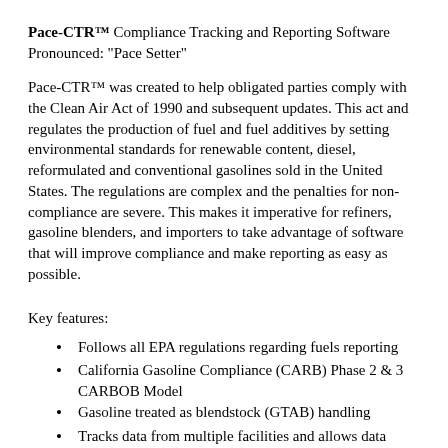Pace-CTR™ Compliance Tracking and Reporting Software Pronounced: "Pace Setter"
Pace-CTR™ was created to help obligated parties comply with the Clean Air Act of 1990 and subsequent updates. This act and regulates the production of fuel and fuel additives by setting environmental standards for renewable content, diesel, reformulated and conventional gasolines sold in the United States. The regulations are complex and the penalties for non-compliance are severe. This makes it imperative for refiners, gasoline blenders, and importers to take advantage of software that will improve compliance and make reporting as easy as possible.
Key features:
Follows all EPA regulations regarding fuels reporting
California Gasoline Compliance (CARB) Phase 2 & 3 CARBOB Model
Gasoline treated as blendstock (GTAB) handling
Tracks data from multiple facilities and allows data aggregation
Equivalent emission performance calculations
Gasoline containing previously certified batches
Sulfur and benzene credits